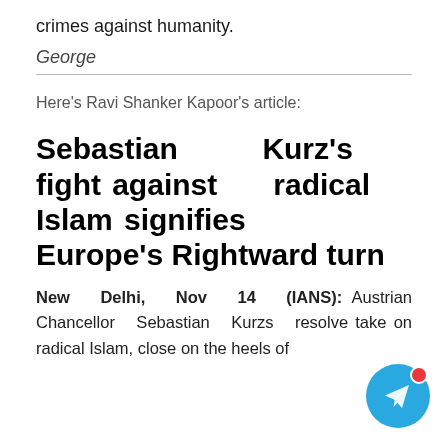crimes against humanity.
George
Here's Ravi Shanker Kapoor's article:
Sebastian Kurz's fight against radical Islam signifies Europe's Rightward turn
New Delhi, Nov 14 (IANS): Austrian Chancellor Sebastian Kurzs resolve take on radical Islam, close on the heels of